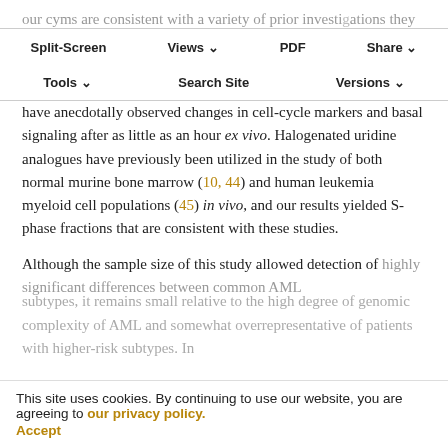our cyms are consistent with a variety of prior investigations they are conveniently applied in clinical practice. Our ability to detect these differences appears to require rapid processing of samples, as we have anecdotally observed changes in cell-cycle markers and basal signaling after as little as an hour ex vivo. Halogenated uridine analogues have previously been utilized in the study of both normal murine bone marrow (10, 44) and human leukemia myeloid cell populations (45) in vivo, and our results yielded S-phase fractions that are consistent with these studies.
Although the sample size of this study allowed detection of highly significant differences between common AML subtypes, it remains small relative to the high degree of genomic complexity of AML and somewhat overrepresentative of patients with higher-risk subtypes. In
Split-Screen | Views | PDF | Share | Tools | Search Site | Versions
This site uses cookies. By continuing to use our website, you are agreeing to our privacy policy. Accept